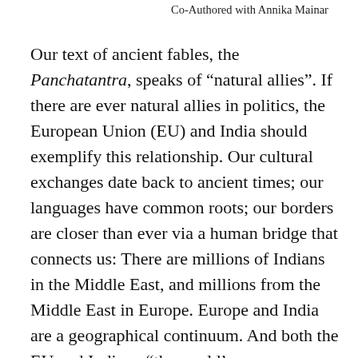Co-Authored with Annika Mainar
Our text of ancient fables, the Panchatantra, speaks of “natural allies”. If there are ever natural allies in politics, the European Union (EU) and India should exemplify this relationship. Our cultural exchanges date back to ancient times; our languages have common roots; our borders are closer than ever via a human bridge that connects us: There are millions of Indians in the Middle East, and millions from the Middle East in Europe. Europe and India are a geographical continuum. And both the EU and India— “the world’s